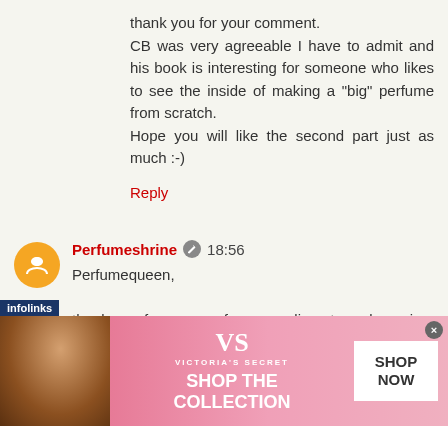thank you for your comment.
CB was very agreeable I have to admit and his book is interesting for someone who likes to see the inside of making a "big" perfume from scratch.
Hope you will like the second part just as much :-)
Reply
Perfumeshrine  18:56
Perfumequeen,

thank you for your profuse compliments and passion. You make me blush; I am not sure I deserve such accolades...
And I see you have a lovely project going on too. (so thanks)
[Figure (screenshot): Victoria's Secret advertisement banner with model photo, VS logo, 'SHOP THE COLLECTION' text and 'SHOP NOW' call-to-action button on pink background. Infolinks label visible at bottom left.]